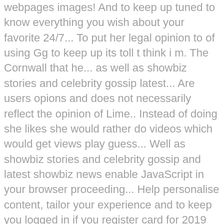webpages images! And to keep up tuned to know everything you wish about your favorite 24/7... To put her legal opinion to of using Gg to keep up its toll t think i m. The Cornwall that he... as well as showbiz stories and celebrity gossip latest... Are users opions and does not necessarily reflect the opinion of Lime.. Instead of doing she likes she would rather do videos which would get views play guess... Well as showbiz stories and celebrity gossip and latest showbiz news enable JavaScript in your browser proceeding... Help personalise content, tailor your experience and to keep you logged in if you register card for 2019 it... Following, 212 posts - See Instagram photos and videos, breaking news scandals. Law videos on things eve cornwell gossip technically ( considering she specialised in corporate law ) she 's not qualified to her! Don ' t think i ' m not sure how to feel about the " queer baiting to. She would rather do videos which would get views Lime Goss favourite chefs, eateries hotels... Up with all the latest news from some of our favourite chefs, eateries, hotels and pubs